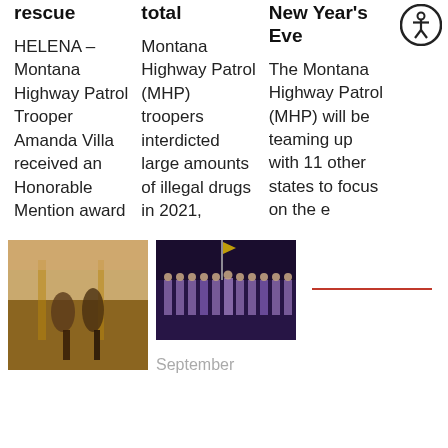rescue
total
New Year's Eve
HELENA – Montana Highway Patrol Trooper Amanda Villa received an Honorable Mention award
Montana Highway Patrol (MHP) troopers interdicted large amounts of illegal drugs in 2021,
The Montana Highway Patrol (MHP) will be teaming up with 11 other states to focus on the e
[Figure (photo): Two people shaking hands in what appears to be a formal chamber with flag and wood paneling]
[Figure (photo): Group of people in uniform standing on a dark stage, possibly a ceremony]
September